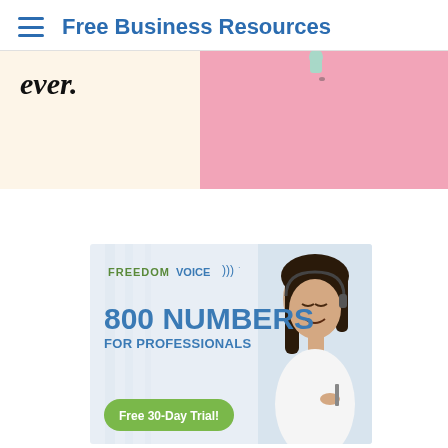Free Business Resources
ever.
[Figure (photo): Pink background with a pin/tack at the top, partial view of a note or banner]
[Figure (advertisement): FreedomVoice advertisement banner. Logo text 'FREEDOMVOICE)))', heading '800 NUMBERS FOR PROFESSIONALS', button 'Free 30-Day Trial!'. Shows a smiling Asian woman wearing a headset.]